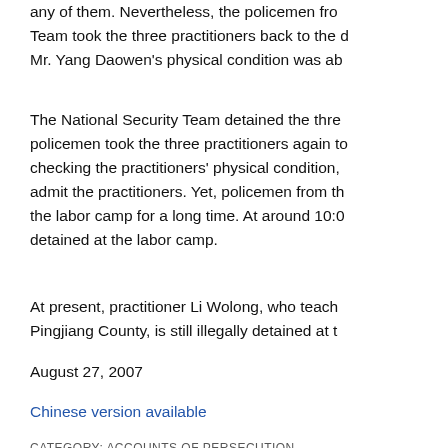any of them. Nevertheless, the policemen from Team took the three practitioners back to the de Mr. Yang Daowen's physical condition was abr
The National Security Team detained the three policemen took the three practitioners again to checking the practitioners' physical condition, t admit the practitioners. Yet, policemen from th the labor camp for a long time. At around 10:0 detained at the labor camp.
At present, practitioner Li Wolong, who teache Pingjiang County, is still illegally detained at th
August 27, 2007
Chinese version available
CATEGORY: Accounts of Persecution